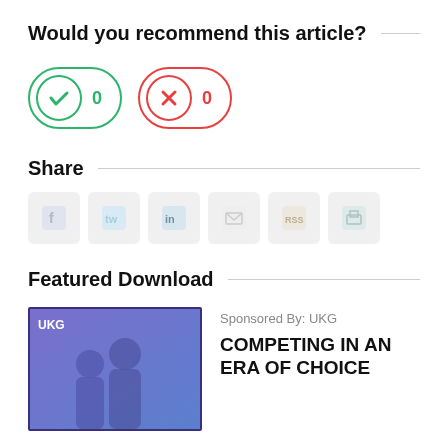Would you recommend this article?
[Figure (infographic): Two vote buttons: a green checkmark button with count 0 (yes/recommend) and a red X button with count 0 (no/do not recommend)]
Share
[Figure (infographic): Row of six social media share icon buttons (Facebook, Twitter, LinkedIn, Email, RSS, Print) rendered as light grey placeholder boxes]
Featured Download
[Figure (photo): UKG branded image with purple/blue background showing silhouetted figures, with UKG logo text in top left]
Sponsored By: UKG
COMPETING IN AN ERA OF CHOICE